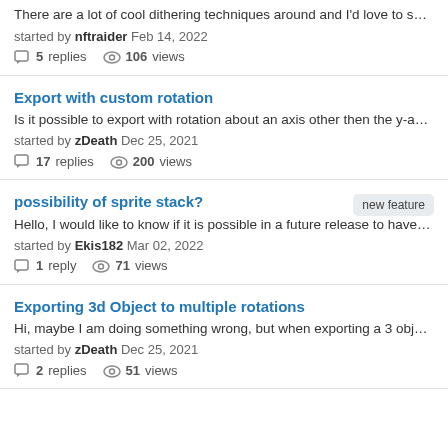There are a lot of cool dithering techniques around and I'd love to se…
started by nftraider Feb 14, 2022
5 replies   106 views
Export with custom rotation
Is it possible to export with rotation about an axis other then the y-a…
started by zDeath Dec 25, 2021
17 replies   200 views
possibility of sprite stack?
new feature
Hello, I would like to know if it is possible in a future release to have…
started by Ekis182 Mar 02, 2022
1 reply   71 views
Exporting 3d Object to multiple rotations
Hi, maybe I am doing something wrong, but when exporting a 3 obje…
started by zDeath Dec 25, 2021
2 replies   51 views